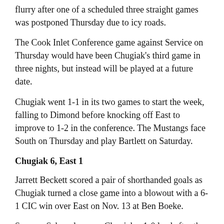flurry after one of a scheduled three straight games was postponed Thursday due to icy roads.
The Cook Inlet Conference game against Service on Thursday would have been Chugiak's third game in three nights, but instead will be played at a future date.
Chugiak went 1-1 in its two games to start the week, falling to Dimond before knocking off East to improve to 1-2 in the conference. The Mustangs face South on Thursday and play Bartlett on Saturday.
Chugiak 6, East 1
Jarrett Beckett scored a pair of shorthanded goals as Chugiak turned a close game into a blowout with a 6-1 CIC win over East on Nov. 13 at Ben Boeke.
Spencer Schroeder gave Chugiak a 1-0 lead after the first period with a goal off assists from Nate Carey and Kaylin Garner, but the T-birds tied things up late in the second on an unassisted goal by AJ Pflugh.